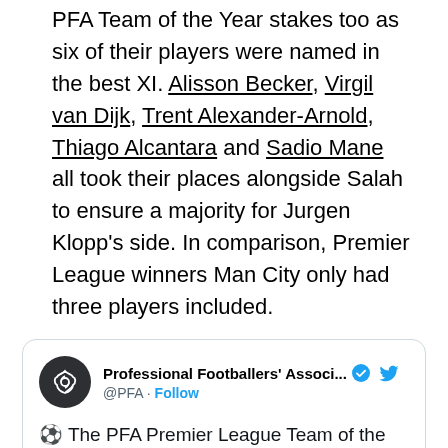PFA Team of the Year stakes too as six of their players were named in the best XI. Alisson Becker, Virgil van Dijk, Trent Alexander-Arnold, Thiago Alcantara and Sadio Mane all took their places alongside Salah to ensure a majority for Jurgen Klopp's side. In comparison, Premier League winners Man City only had three players included.
[Figure (screenshot): Embedded tweet from @PFA (Professional Footballers' Association) announcing: '⚽ The PFA Premier League Team of the Year!' followed by list entries: 🇧🇷 @Alissonbecker, 🇵🇹 João Cancelo]